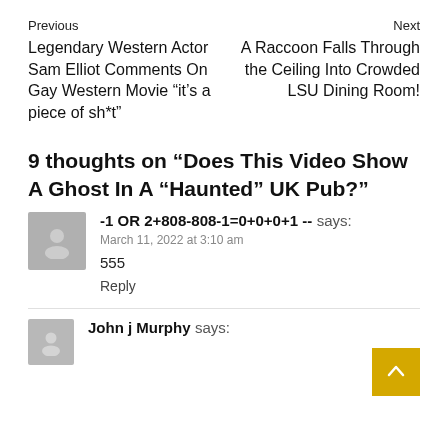Previous
Next
Legendary Western Actor Sam Elliot Comments On Gay Western Movie “it’s a piece of sh*t”
A Raccoon Falls Through the Ceiling Into Crowded LSU Dining Room!
9 thoughts on “Does This Video Show A Ghost In A “Haunted” UK Pub?”
-1 OR 2+808-808-1=0+0+0+1 -- says:
March 11, 2022 at 3:10 am
555
Reply
John j Murphy says: